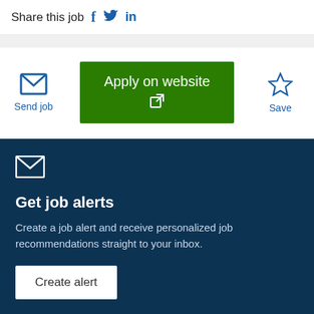Share this job  f  🐦  in
Send job | Apply on website | Save
Get job alerts
Create a job alert and receive personalized job recommendations straight to your inbox.
Create alert
Similar jobs